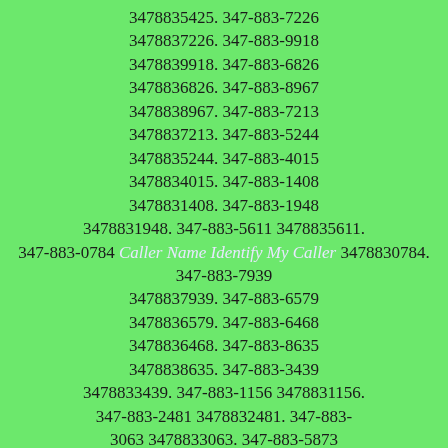3478835425. 347-883-7226 3478837226. 347-883-9918 3478839918. 347-883-6826 3478836826. 347-883-8967 3478838967. 347-883-7213 3478837213. 347-883-5244 3478835244. 347-883-4015 3478834015. 347-883-1408 3478831408. 347-883-1948 3478831948. 347-883-5611 3478835611. 347-883-0784 Caller Name Identify My Caller 3478830784. 347-883-7939 3478837939. 347-883-6579 3478836579. 347-883-6468 3478836468. 347-883-8635 3478838635. 347-883-3439 3478833439. 347-883-1156 3478831156. 347-883-2481 3478832481. 347-883-3063 3478833063. 347-883-5873 3478835873. 347-883-5019 3478835019. 347-883-9510 3478839510. 347-883-5253 3478835253. 347-883-6985 3478836985. 347-883-9472 3478839472. 347-883-6201